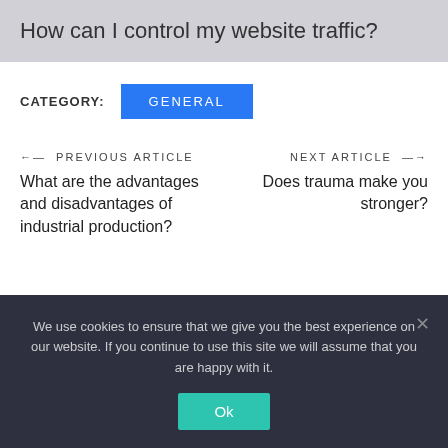How can I control my website traffic?
CATEGORY: GENERAL
← PREVIOUS ARTICLE
What are the advantages and disadvantages of industrial production?
NEXT ARTICLE →
Does trauma make you stronger?
We use cookies to ensure that we give you the best experience on our website. If you continue to use this site we will assume that you are happy with it.